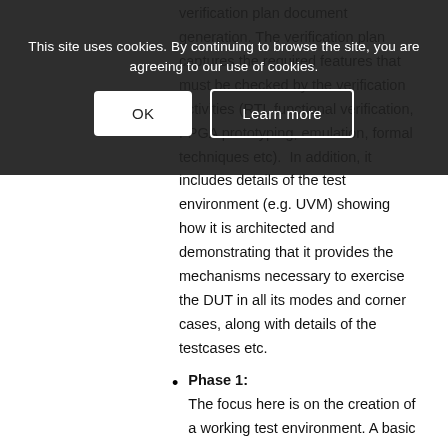verification plan document generation. The verification plan captures the required features that must be checked by the verification activities (RTL functional verification, FPGA prototyping, emulation, formal techniques etc). In addition, it includes details of the test environment (e.g. UVM) showing how it is architected and demonstrating that it provides the mechanisms necessary to exercise the DUT in all its modes and corner cases, along with details of the testcases etc.
Phase 1: The focus here is on the creation of a working test environment. A basic
This site uses cookies. By continuing to browse the site, you are agreeing to our use of cookies.